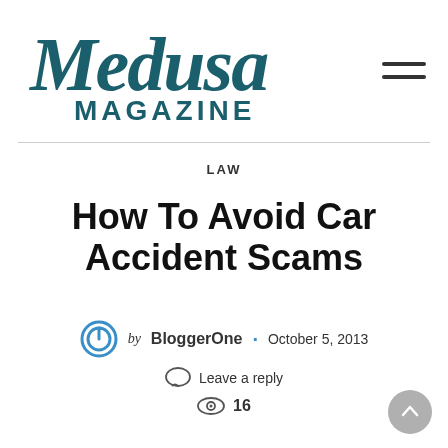[Figure (logo): Medusa Magazine logo — stylized script 'Medusa' in teal/dark teal with 'MAGAZINE' in bold sans-serif below]
LAW
How To Avoid Car Accident Scams
by BloggerOne · October 5, 2013
Leave a reply
16